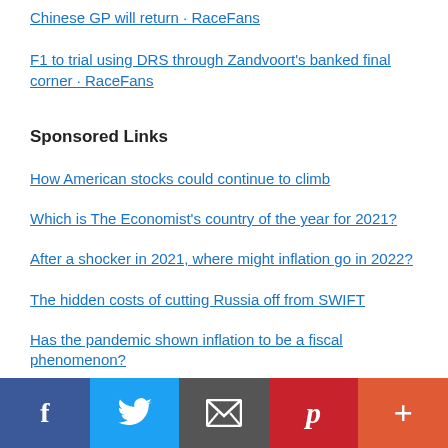Chinese GP will return · RaceFans
F1 to trial using DRS through Zandvoort's banked final corner · RaceFans
Sponsored Links
How American stocks could continue to climb
Which is The Economist's country of the year for 2021?
After a shocker in 2021, where might inflation go in 2022?
The hidden costs of cutting Russia off from SWIFT
Has the pandemic shown inflation to be a fiscal phenomenon?
Facebook | Twitter | Email | Pinterest | More